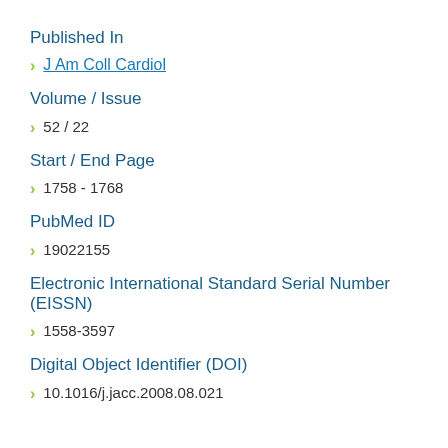Published In
J Am Coll Cardiol
Volume / Issue
52 / 22
Start / End Page
1758 - 1768
PubMed ID
19022155
Electronic International Standard Serial Number (EISSN)
1558-3597
Digital Object Identifier (DOI)
10.1016/j.jacc.2008.08.021